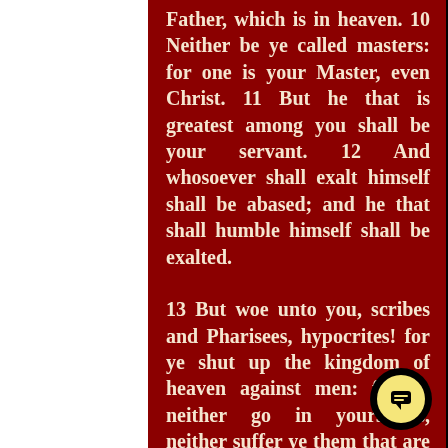Father, which is in heaven. 10 Neither be ye called masters: for one is your Master, even Christ. 11 But he that is greatest among you shall be your servant. 12 And whosoever shall exalt himself shall be abased; and he that shall humble himself shall be exalted.

13 But woe unto you, scribes and Pharisees, hypocrites! for ye shut up the kingdom of heaven against men: for ye neither go in yourselves, neither suffer ye them that are entering to go in. 14 Woe unto you, scribes and Pharisees, hypocrites! for ye devour widows' houses, and for a pretence make long prayer: therefore ye shall receive the greater damnation. 15 Woe unto you, scribes and Pharisees, hypocrites! for ye compass sea and